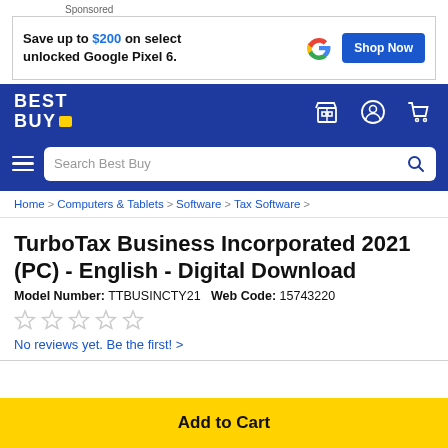[Figure (screenshot): Sponsored Google ad banner: 'Save up to $200 on select unlocked Google Pixel 6.' with Google G logo and 'Shop Now' blue button]
[Figure (logo): Best Buy logo and navigation header with store, account, and cart icons on dark blue background]
[Figure (screenshot): Best Buy search bar with hamburger menu icon and 'Search Best Buy' placeholder text]
Home > Computers & Tablets > Software > Tax Software >
TurboTax Business Incorporated 2021 (PC) - English - Digital Download
Model Number: TTBUSINCTY21   Web Code: 15743220
[Figure (other): Five empty star rating icons]
No reviews yet. Be the first! >
Add to Cart